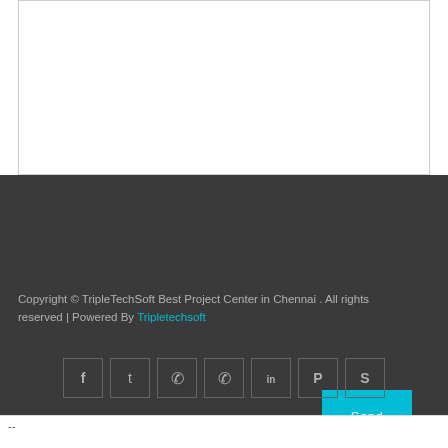[Figure (screenshot): White textarea input box at top of dark form section]
Send
Copyright © TripleTechSoft Best Project Center in Chennai . All rights reserved | Powered By Tripletechsoft
[Figure (other): Row of 7 social media icon boxes: Facebook, Twitter, WhatsApp, WhatsApp, LinkedIn, Pinterest, Skype]
--